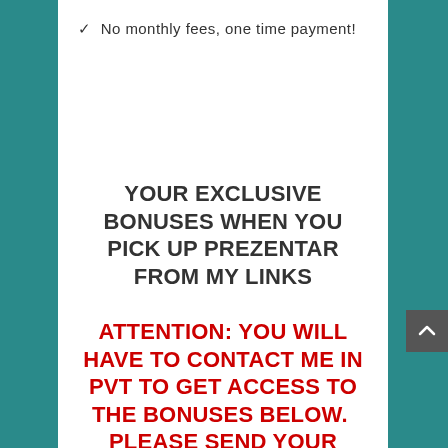✓  No monthly fees, one time payment!
YOUR EXCLUSIVE BONUSES WHEN YOU PICK UP PREZENTAR FROM MY LINKS
ATTENTION: YOU WILL HAVE TO CONTACT ME IN PVT TO GET ACCESS TO THE BONUSES BELOW.  PLEASE SEND YOUR RECEIPT AND PROOF OF